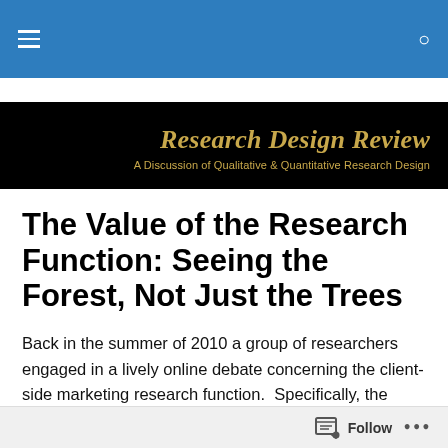Research Design Review — Navigation bar
Research Design Review
A Discussion of Qualitative & Quantitative Research Design
The Value of the Research Function: Seeing the Forest, Not Just the Trees
Back in the summer of 2010 a group of researchers engaged in a lively online debate concerning the client-side marketing research function.  Specifically, the
Follow ...